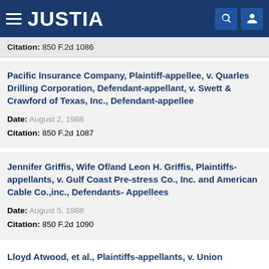JUSTIA
Citation: 850 F.2d 1086
Pacific Insurance Company, Plaintiff-appellee, v. Quarles Drilling Corporation, Defendant-appellant, v. Swett & Crawford of Texas, Inc., Defendant-appellee
Date: August 2, 1988
Citation: 850 F.2d 1087
Jennifer Griffis, Wife Of/and Leon H. Griffis, Plaintiffs-appellants, v. Gulf Coast Pre-stress Co., Inc. and American Cable Co.,inc., Defendants- Appellees
Date: August 5, 1988
Citation: 850 F.2d 1090
Lloyd Atwood, et al., Plaintiffs-appellants, v. Union